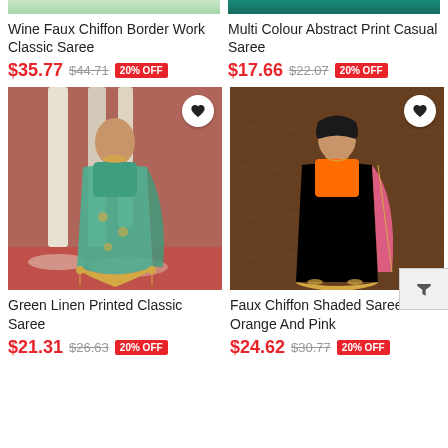[Figure (photo): Partial top view of a wine/dark saree with teal/green background]
Wine Faux Chiffon Border Work Classic Saree
$35.77  $44.71  20% OFF
[Figure (photo): Partial top view of a teal multi-colour abstract print saree]
Multi Colour Abstract Print Casual Saree
$17.66  $22.07  20% OFF
[Figure (photo): Woman wearing a green linen printed classic saree posed in front of a temple background with red and white patterns]
Green Linen Printed Classic Saree
$21.31  $26.63  20% OFF
[Figure (photo): Woman wearing an orange and pink shaded faux chiffon saree posed against a dark wood background]
Faux Chiffon Shaded Saree In Orange And Pink
$24.62  $30.77  20% OFF